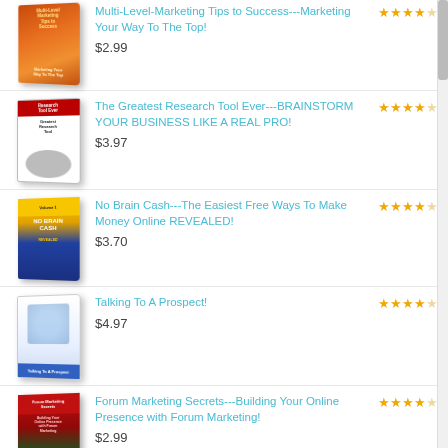Multi-Level-Marketing Tips to Success---Marketing Your Way To The Top! $2.99 ★★★★☆
The Greatest Research Tool Ever---BRAINSTORM YOUR BUSINESS LIKE A REAL PRO! $3.97 ★★★★☆
No Brain Cash---The Easiest Free Ways To Make Money Online REVEALED! $3.70 ★★★★☆
Talking To A Prospect! $4.97 ★★★★☆
Forum Marketing Secrets---Building Your Online Presence with Forum Marketing! $2.99 ★★★★☆